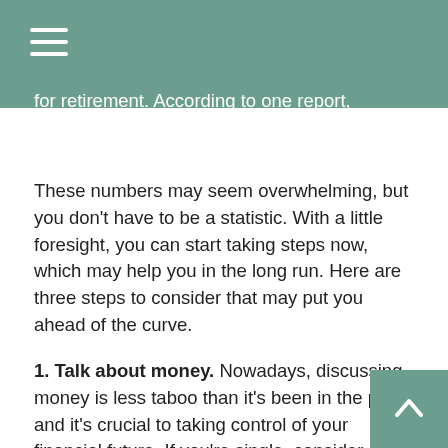for retirement. According to one report, women contribute 30% less to their retirement accounts than men.1,2
These numbers may seem overwhelming, but you don't have to be a statistic. With a little foresight, you can start taking steps now, which may help you in the long run. Here are three steps to consider that may put you ahead of the curve.
1. Talk about money. Nowadays, discussing money is less taboo than it's been in the past, and it's crucial to taking control of your financial future. If you're single, consider writing down your retirement goals and keeping them readily accessible. If you have a partner, make sure you are both on the same page regarding your retirement goals. The more comfortably you can talk about your future, the more confident you may be to make important